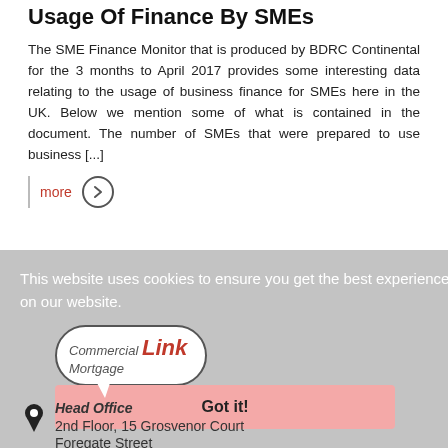Usage Of Finance By SMEs
The SME Finance Monitor that is produced by BDRC Continental for the 3 months to April 2017 provides some interesting data relating to the usage of business finance for SMEs here in the UK. Below we mention some of what is contained in the document. The number of SMEs that were prepared to use business [...]
more →
This website uses cookies to ensure you get the best experience on our website.
[Figure (logo): Commercial Mortgage Link logo in speech bubble shape]
Got it!
Head Office
2nd Floor, 15 Grosvenor Court
Foregate Street